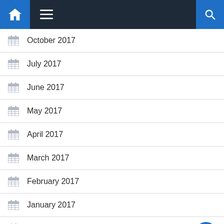Navigation bar with home, menu, and search icons
October 2017
July 2017
June 2017
May 2017
April 2017
March 2017
February 2017
January 2017
December 2016